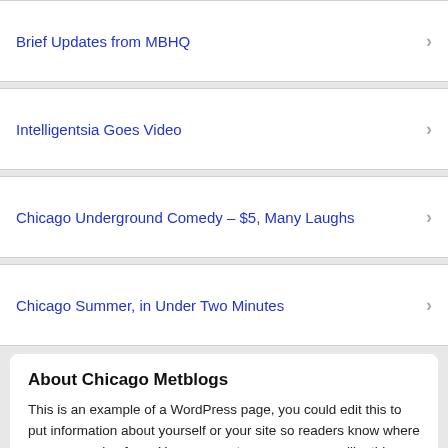Brief Updates from MBHQ
Intelligentsia Goes Video
Chicago Underground Comedy – $5, Many Laughs
Chicago Summer, in Under Two Minutes
About Chicago Metblogs
This is an example of a WordPress page, you could edit this to put information about yourself or your site so readers know where you are coming from. You can create as many pages like this one or sub-pages as you like and manage all of your content inside of WordPress. more →
Exit the Mobile Edition (view the standard browser version).
Proudly powered by WordPress and Carrington. Log in | Register
WordPress Mobile Edition available from Crowd Favorite.
CARRINGTON FRAMEWORK BY Crowd Favorite